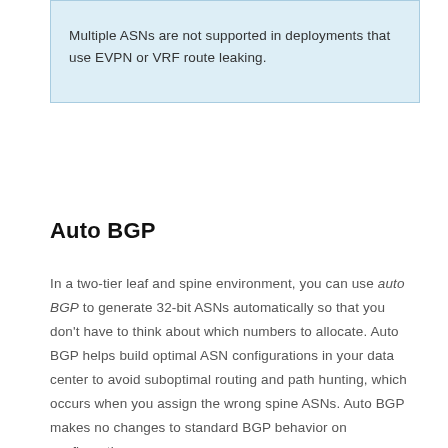Multiple ASNs are not supported in deployments that use EVPN or VRF route leaking.
Auto BGP
In a two-tier leaf and spine environment, you can use auto BGP to generate 32-bit ASNs automatically so that you don't have to think about which numbers to allocate. Auto BGP helps build optimal ASN configurations in your data center to avoid suboptimal routing and path hunting, which occurs when you assign the wrong spine ASNs. Auto BGP makes no changes to standard BGP behavior on configuration.